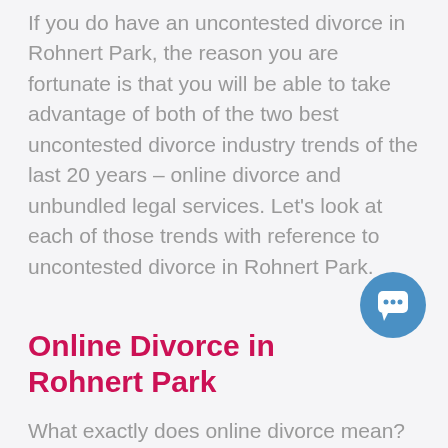If you do have an uncontested divorce in Rohnert Park, the reason you are fortunate is that you will be able to take advantage of both of the two best uncontested divorce industry trends of the last 20 years – online divorce and unbundled legal services.  Let's look at each of those trends with reference to uncontested divorce in Rohnert Park.
[Figure (illustration): Blue circular chat/message icon button]
Online Divorce in Rohnert Park
What exactly does online divorce mean?